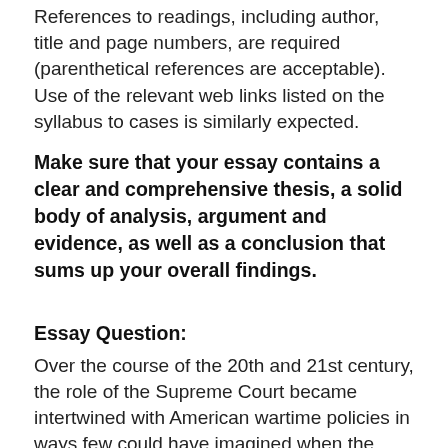References to readings, including author, title and page numbers, are required (parenthetical references are acceptable). Use of the relevant web links listed on the syllabus to cases is similarly expected.
Make sure that your essay contains a clear and comprehensive thesis, a solid body of analysis, argument and evidence, as well as a conclusion that sums up your overall findings.
Essay Question:
Over the course of the 20th and 21st century, the role of the Supreme Court became intertwined with American wartime policies in ways few could have imagined when the Constitutional Convention created the judiciary branch in the 18th century